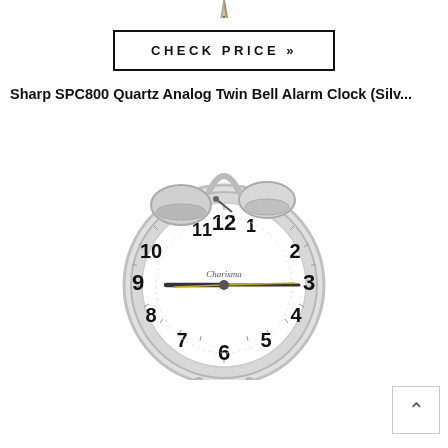[Figure (illustration): Partial pencil tip visible at top center of page]
CHECK PRICE »
Sharp SPC800 Quartz Analog Twin Bell Alarm Clock (Silv...
[Figure (photo): Silver Sharp SPC800 Quartz Analog Twin Bell Alarm Clock with white clock face showing numbers 1-12, hands pointing near 3 o'clock, two bells on top, and small feet at the bottom]